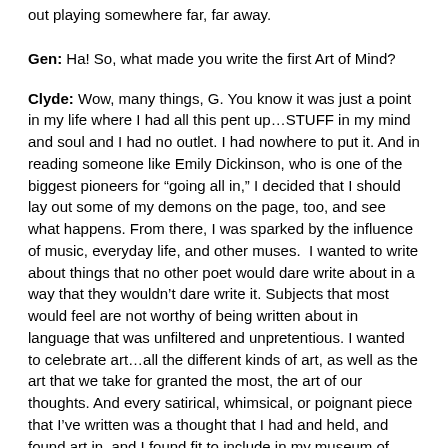out playing somewhere far, far away.
Gen: Ha! So, what made you write the first Art of Mind?
Clyde: Wow, many things, G. You know it was just a point in my life where I had all this pent up…STUFF in my mind and soul and I had no outlet. I had nowhere to put it. And in reading someone like Emily Dickinson, who is one of the biggest pioneers for “going all in,” I decided that I should lay out some of my demons on the page, too, and see what happens. From there, I was sparked by the influence of music, everyday life, and other muses.  I wanted to write about things that no other poet would dare write about in a way that they wouldn’t dare write it. Subjects that most would feel are not worthy of being written about in language that was unfiltered and unpretentious. I wanted to celebrate art…all the different kinds of art, as well as the art that we take for granted the most, the art of our thoughts. And every satirical, whimsical, or poignant piece that I’ve written was a thought that I had and held, and found art in, and I found fit to include in my museum of ideas.